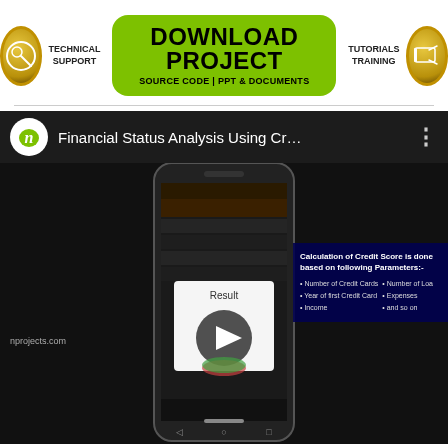[Figure (logo): Download Project banner with Technical Support circle icon on left, green Download Project button in center with 'SOURCE CODE | PPT & DOCUMENTS' subtitle, and Tutorials Training circle icon on right]
[Figure (screenshot): YouTube-style video thumbnail showing Financial Status Analysis Using Credit Score project. Dark background with phone mockup displaying app screens. Title bar shows channel logo and 'Financial Status Analysis Using Cr...' text. Side panel shows 'Calculation of Credit Score is done based on following Parameters' with bullet points: Number of Credit Cards, Number of Loans, Year of first Credit Card, Expenses, Income, and so on. Watermark shows 'nprojects.com']